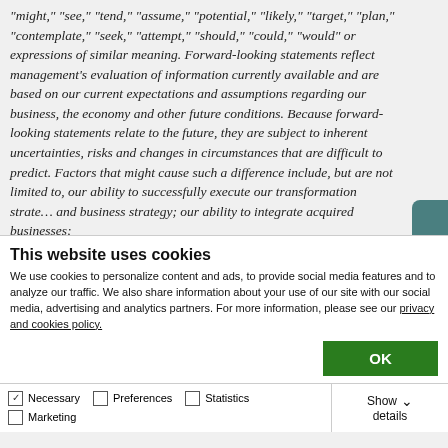"might," "see," "tend," "assume," "potential," "likely," "target," "plan," "contemplate," "seek," "attempt," "should," "could," "would" or expressions of similar meaning. Forward-looking statements reflect management's evaluation of information currently available and are based on our current expectations and assumptions regarding our business, the economy and other future conditions. Because forward-looking statements relate to the future, they are subject to inherent uncertainties, risks and changes in circumstances that are difficult to predict. Factors that might cause such a difference include, but are not limited to, our ability to successfully execute our transformation strategy and business strategy; our ability to integrate acquired businesses;
This website uses cookies
We use cookies to personalize content and ads, to provide social media features and to analyze our traffic. We also share information about your use of our site with our social media, advertising and analytics partners. For more information, please see our privacy and cookies policy.